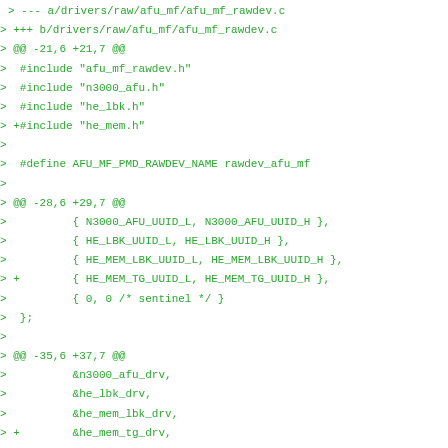> --- a/drivers/raw/afu_mf/afu_mf_rawdev.c
> +++ b/drivers/raw/afu_mf/afu_mf_rawdev.c
> @@ -21,6 +21,7 @@
>  #include "afu_mf_rawdev.h"
>  #include "n3000_afu.h"
>  #include "he_lbk.h"
> +#include "he_mem.h"
> 
>  #define AFU_MF_PMD_RAWDEV_NAME rawdev_afu_mf
> 
> @@ -28,6 +29,7 @@
>          { N3000_AFU_UUID_L, N3000_AFU_UUID_H },
>          { HE_LBK_UUID_L, HE_LBK_UUID_H },
>          { HE_MEM_LBK_UUID_L, HE_MEM_LBK_UUID_H },
> +        { HE_MEM_TG_UUID_L, HE_MEM_TG_UUID_H },
>          { 0, 0 /* sentinel */ }
>  };
> 
> @@ -35,6 +37,7 @@
>          &n3000_afu_drv,
>          &he_lbk_drv,
>          &he_mem_lbk_drv,
> +        &he_mem_tg_drv,
>          NULL
>  };
> 
> diff --git a/drivers/raw/afu_mf/he_mem.c b/drivers/raw/afu_m
> new file mode 100644 index 0000000..ccbb3a8
> --- /dev/null
> +++ b/drivers/raw/afu_mf/he_mem.c
> @@ -0,0 +1,181 @@
> +/* SPDX-License-Identifier: BSD-3-Clause